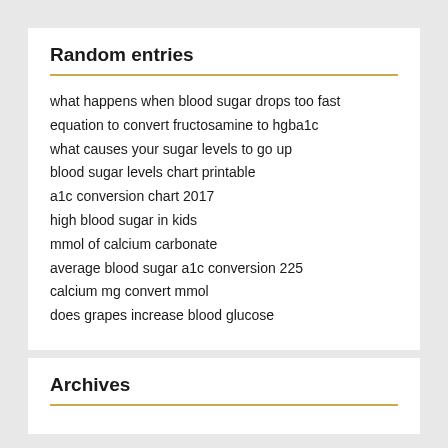Random entries
what happens when blood sugar drops too fast
equation to convert fructosamine to hgba1c
what causes your sugar levels to go up
blood sugar levels chart printable
a1c conversion chart 2017
high blood sugar in kids
mmol of calcium carbonate
average blood sugar a1c conversion 225
calcium mg convert mmol
does grapes increase blood glucose
Archives